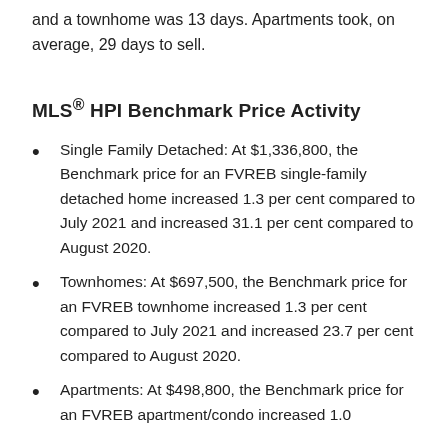and a townhome was 13 days. Apartments took, on average, 29 days to sell.
MLS® HPI Benchmark Price Activity
Single Family Detached: At $1,336,800, the Benchmark price for an FVREB single-family detached home increased 1.3 per cent compared to July 2021 and increased 31.1 per cent compared to August 2020.
Townhomes: At $697,500, the Benchmark price for an FVREB townhome increased 1.3 per cent compared to July 2021 and increased 23.7 per cent compared to August 2020.
Apartments: At $498,800, the Benchmark price for an FVREB apartment/condo increased 1.0